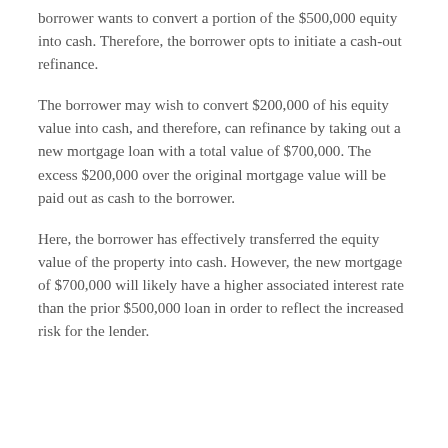borrower wants to convert a portion of the $500,000 equity into cash. Therefore, the borrower opts to initiate a cash-out refinance.
The borrower may wish to convert $200,000 of his equity value into cash, and therefore, can refinance by taking out a new mortgage loan with a total value of $700,000. The excess $200,000 over the original mortgage value will be paid out as cash to the borrower.
Here, the borrower has effectively transferred the equity value of the property into cash. However, the new mortgage of $700,000 will likely have a higher associated interest rate than the prior $500,000 loan in order to reflect the increased risk for the lender.